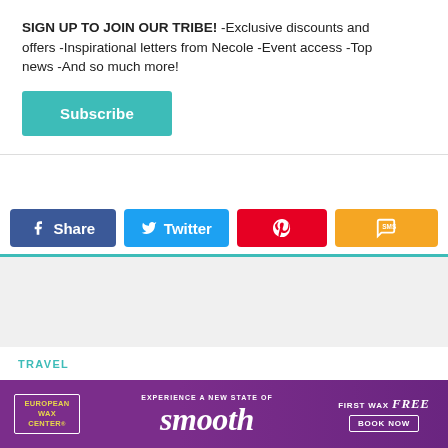SIGN UP TO JOIN OUR TRIBE! -Exclusive discounts and offers -Inspirational letters from Necole -Event access -Top news -And so much more!
Subscribe
[Figure (other): Social share buttons row: Facebook Share, Twitter, Pinterest, SMS]
TRAVEL
Adult-Friendly Retreats And Camps For The
[Figure (other): European Wax Center advertisement banner - Experience a New State of smooth - First wax free - Book Now]